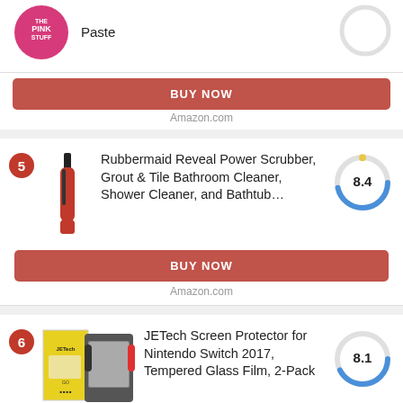Paste
BUY NOW
Amazon.com
5 - Rubbermaid Reveal Power Scrubber, Grout & Tile Bathroom Cleaner, Shower Cleaner, and Bathtub… Score: 8.4
BUY NOW
Amazon.com
6 - JETech Screen Protector for Nintendo Switch 2017, Tempered Glass Film, 2-Pack Score: 8.1
BUY NOW
Amazon.com